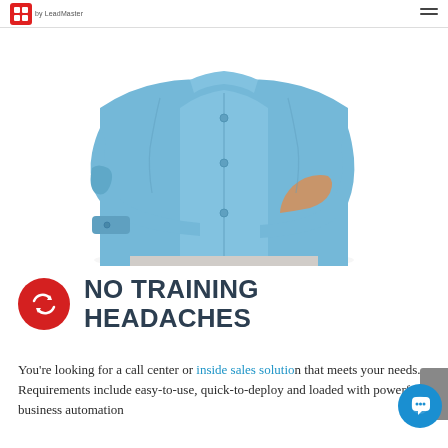by LeadMaster
[Figure (photo): Person wearing a blue long-sleeve button-up shirt with arms crossed, torso and lower face visible, white background]
NO TRAINING HEADACHES
You're looking for a call center or inside sales solution that meets your needs. Requirements include easy-to-use, quick-to-deploy and loaded with powerful business automation